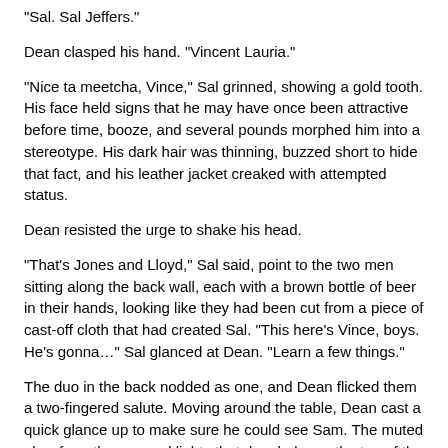"Sal. Sal Jeffers."
Dean clasped his hand. "Vincent Lauria."
"Nice ta meetcha, Vince," Sal grinned, showing a gold tooth. His face held signs that he may have once been attractive before time, booze, and several pounds morphed him into a stereotype. His dark hair was thinning, buzzed short to hide that fact, and his leather jacket creaked with attempted status.
Dean resisted the urge to shake his head.
"That's Jones and Lloyd," Sal said, point to the two men sitting along the back wall, each with a brown bottle of beer in their hands, looking like they had been cut from a piece of cast-off cloth that had created Sal. "This here's Vince, boys. He's gonna..." Sal glanced at Dean. "Learn a few things."
The duo in the back nodded as one, and Dean flicked them a two-fingered salute. Moving around the table, Dean cast a quick glance up to make sure he could see Sam. The muted glow from the covered lights that dangled over the top of the bar threw strange shadows on the floor.
Sam leaned against the bar, his elbows resting lazily as he waited for his order. He watched Dean move hesitantly around the table, continuing his Oscar-worthy performance of a rookie pool player. He'd never confess as much to Dean, but he enjoyed watching his brother play the role, that...